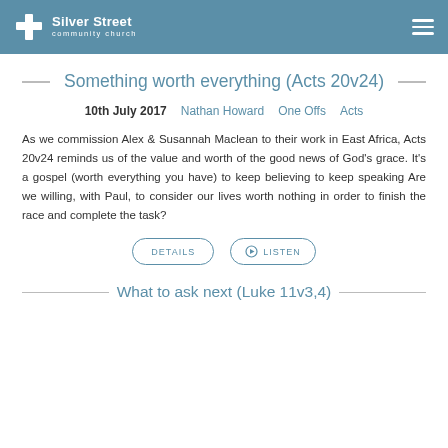Silver Street community church
Something worth everything (Acts 20v24)
10th July 2017   Nathan Howard   One Offs   Acts
As we commission Alex & Susannah Maclean to their work in East Africa, Acts 20v24 reminds us of the value and worth of the good news of God's grace. It's a gospel (worth everything you have) to keep believing to keep speaking Are we willing, with Paul, to consider our lives worth nothing in order to finish the race and complete the task?
What to ask next (Luke 11v3,4)